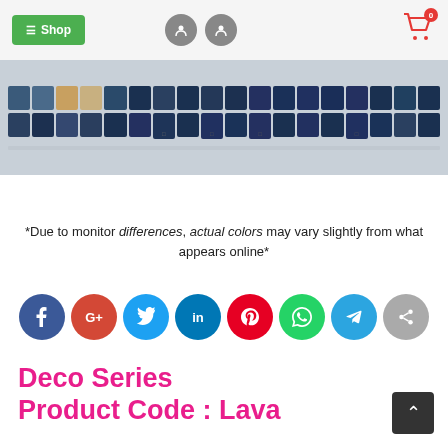Shop
[Figure (photo): A row of small dark blue/teal glass mosaic tiles arranged in two horizontal strips]
*Due to monitor differences, actual colors may vary slightly from what appears online*
[Figure (infographic): Social sharing icons: Facebook, Google+, Twitter, LinkedIn, Pinterest, WhatsApp, Telegram, Share]
Deco Series Product Code : Lava